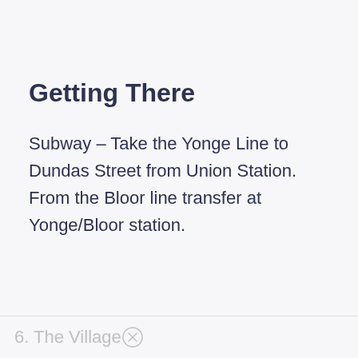Getting There
Subway – Take the Yonge Line to Dundas Street from Union Station. From the Bloor line transfer at Yonge/Bloor station.
6. The Village